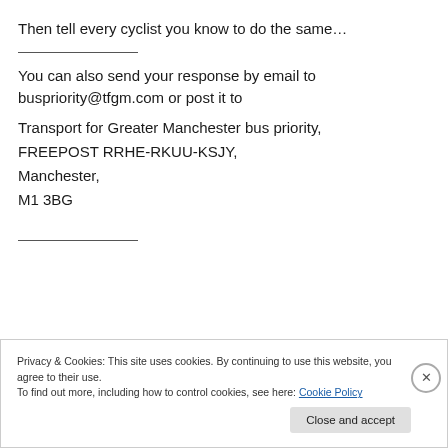Then tell every cyclist you know to do the same…
You can also send your response by email to buspriority@tfgm.com or post it to
Transport for Greater Manchester bus priority,
FREEPOST RRHE-RKUU-KSJY,
Manchester,
M1 3BG
Privacy & Cookies: This site uses cookies. By continuing to use this website, you agree to their use.
To find out more, including how to control cookies, see here: Cookie Policy